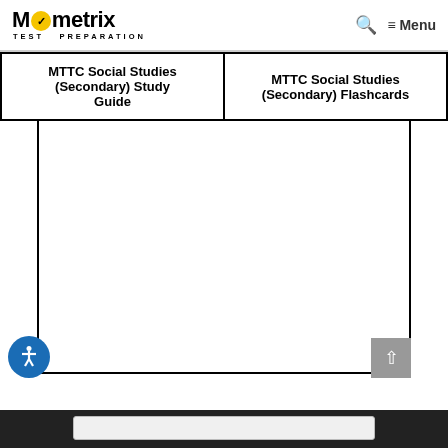Mometrix TEST PREPARATION   🔍 ≡ Menu
| MTTC Social Studies (Secondary) Study Guide | MTTC Social Studies (Secondary) Flashcards |
| --- | --- |